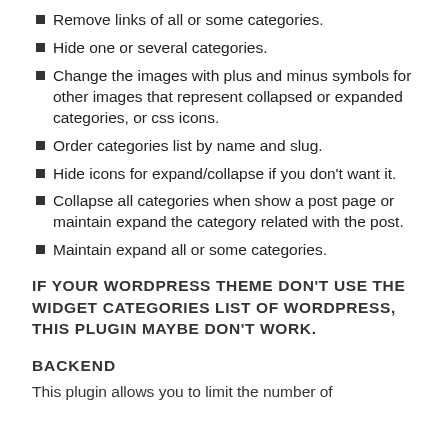Remove links of all or some categories.
Hide one or several categories.
Change the images with plus and minus symbols for other images that represent collapsed or expanded categories, or css icons.
Order categories list by name and slug.
Hide icons for expand/collapse if you don't want it.
Collapse all categories when show a post page or maintain expand the category related with the post.
Maintain expand all or some categories.
IF YOUR WORDPRESS THEME DON'T USE THE WIDGET CATEGORIES LIST OF WORDPRESS, THIS PLUGIN MAYBE DON'T WORK.
BACKEND
This plugin allows you to limit the number of